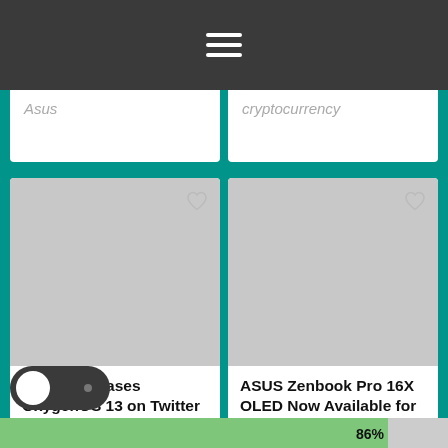≡ (hamburger menu)
Asus
cryptocurrency
[Figure (screenshot): Grey placeholder image for OnePlus article card with heart/favorite icon in top right]
OnePlus Teases OxygenOS 13 on Twitter
News
[Figure (screenshot): Grey placeholder image for ASUS article card with heart/favorite icon in top right]
ASUS Zenbook Pro 16X OLED Now Available for Pre-Order in PH
Gadgets
86%